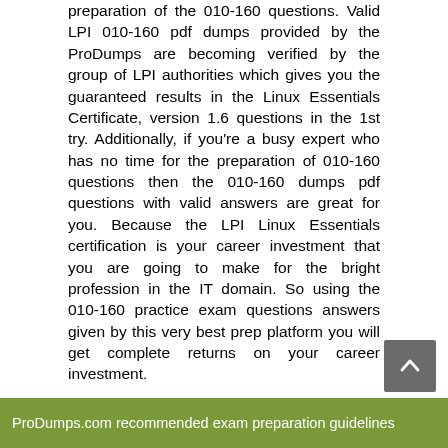preparation of the 010-160 questions. Valid LPI 010-160 pdf dumps provided by the ProDumps are becoming verified by the group of LPI authorities which gives you the guaranteed results in the Linux Essentials Certificate, version 1.6 questions in the 1st try. Additionally, if you're a busy expert who has no time for the preparation of 010-160 questions then the 010-160 dumps pdf questions with valid answers are great for you. Because the LPI Linux Essentials certification is your career investment that you are going to make for the bright profession in the IT domain. So using the 010-160 practice exam questions answers given by this very best prep platform you will get complete returns on your career investment.
ProDumps.com recommended exam preparation guidelines